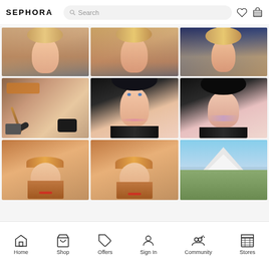SEPHORA
[Figure (screenshot): Sephora app screenshot showing a 3x3 grid of community/user photos: row 1 has three close-up face/selfie photos of women with makeup; row 2 has a makeup products flatlay and two close-up face photos of a woman with black curly hair; row 3 has two selfie photos of a woman with auburn bangs and red lips, and a landscape photo of a snowy mountain.]
Home  Shop  Offers  Sign In  Community  Stores